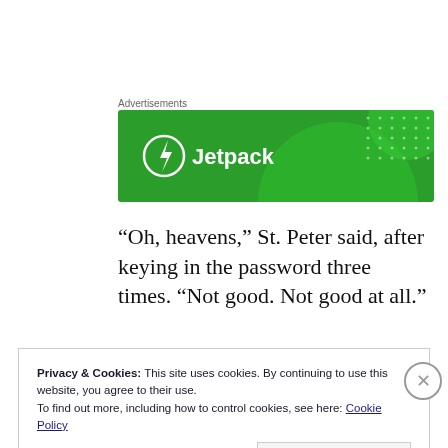Advertisements
[Figure (illustration): Jetpack advertisement banner — green background with lighter green circle shapes and white dot patterns; Jetpack logo (lightning bolt in a circle) and text 'Jetpack' in white on the left side]
“Oh, heavens,” St. Peter said, after keying in the password three times. “Not good. Not good at all.”
Privacy & Cookies: This site uses cookies. By continuing to use this website, you agree to their use.
To find out more, including how to control cookies, see here: Cookie Policy
Close and accept